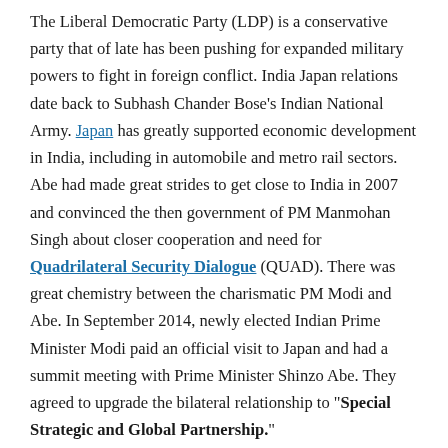The Liberal Democratic Party (LDP) is a conservative party that of late has been pushing for expanded military powers to fight in foreign conflict. India Japan relations date back to Subhash Chander Bose's Indian National Army. Japan has greatly supported economic development in India, including in automobile and metro rail sectors. Abe had made great strides to get close to India in 2007 and convinced the then government of PM Manmohan Singh about closer cooperation and need for Quadrilateral Security Dialogue (QUAD). There was great chemistry between the charismatic PM Modi and Abe. In September 2014, newly elected Indian Prime Minister Modi paid an official visit to Japan and had a summit meeting with Prime Minister Shinzo Abe. They agreed to upgrade the bilateral relationship to "Special Strategic and Global Partnership."